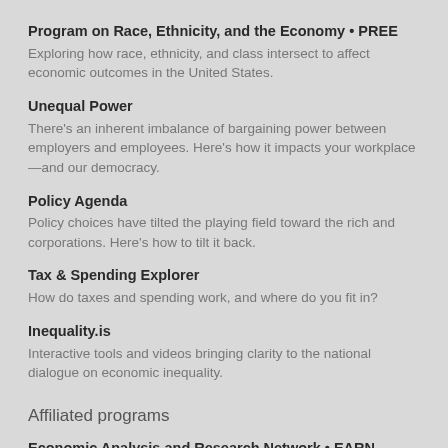Program on Race, Ethnicity, and the Economy • PREE
Exploring how race, ethnicity, and class intersect to affect economic outcomes in the United States.
Unequal Power
There's an inherent imbalance of bargaining power between employers and employees. Here's how it impacts your workplace—and our democracy.
Policy Agenda
Policy choices have tilted the playing field toward the rich and corporations. Here's how to tilt it back.
Tax & Spending Explorer
How do taxes and spending work, and where do you fit in?
Inequality.is
Interactive tools and videos bringing clarity to the national dialogue on economic inequality.
Affiliated programs
Economic Analysis and Research Network • EARN
A network of state and local organizations improving workers'